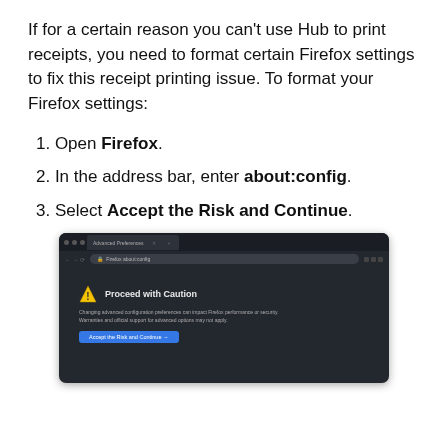If for a certain reason you can't use Hub to print receipts, you need to format certain Firefox settings to fix this receipt printing issue. To format your Firefox settings:
1. Open Firefox.
2. In the address bar, enter about:config.
3. Select Accept the Risk and Continue.
[Figure (screenshot): Firefox browser screenshot showing the about:config page with a 'Proceed with Caution' warning dialog, displaying a yellow warning triangle icon, a warning message about changing advanced configuration preferences, and a blue 'Accept the Risk and Continue' button.]